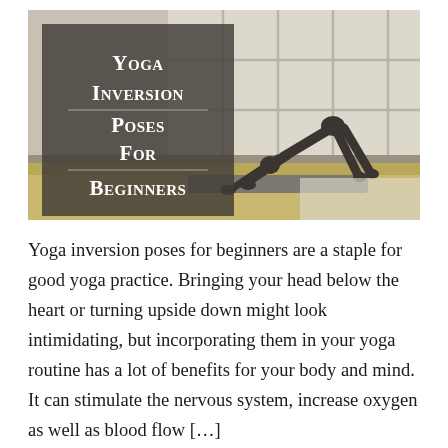[Figure (photo): A person performing a downward-facing dog yoga pose on a mat in a studio with wooden floors and large windows. An overlaid dark semi-transparent box contains the title text.]
Yoga inversion poses for beginners are a staple for good yoga practice. Bringing your head below the heart or turning upside down might look intimidating, but incorporating them in your yoga routine has a lot of benefits for your body and mind. It can stimulate the nervous system, increase oxygen as well as blood flow […]